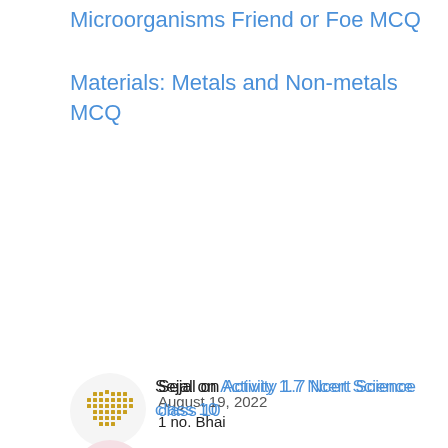Microorganisms Friend or Foe MCQ
Materials: Metals and Non-metals MCQ
Sejal on Activity 1.7 Ncert Science class 10
August 19, 2022
1 no. Bhai
Tanvi Chindak on Activity 2.10 NCERT Class 9 Science Is Matter Around Us Pure